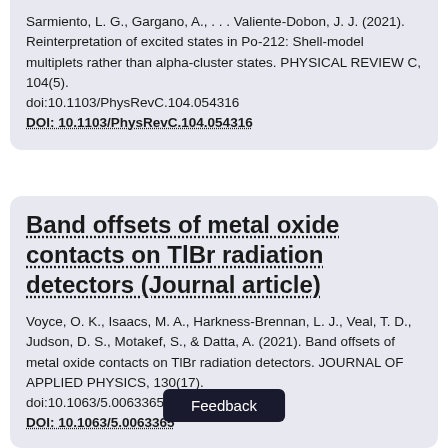Sarmiento, L. G., Gargano, A., . . . Valiente-Dobon, J. J. (2021). Reinterpretation of excited states in Po-212: Shell-model multiplets rather than alpha-cluster states. PHYSICAL REVIEW C, 104(5). doi:10.1103/PhysRevC.104.054316 DOI: 10.1103/PhysRevC.104.054316
Band offsets of metal oxide contacts on TlBr radiation detectors (Journal article)
Voyce, O. K., Isaacs, M. A., Harkness-Brennan, L. J., Veal, T. D., Judson, D. S., Motakef, S., & Datta, A. (2021). Band offsets of metal oxide contacts on TlBr radiation detectors. JOURNAL OF APPLIED PHYSICS, 130(17). doi:10.1063/5.0063365 DOI: 10.1063/5.0063365